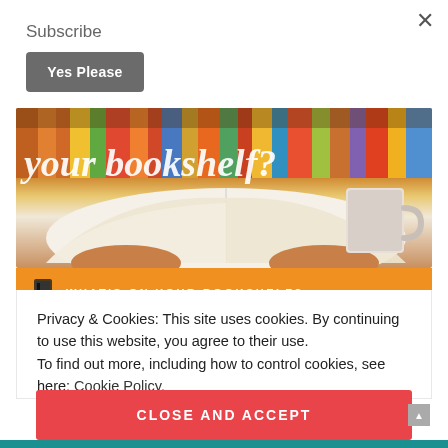Subscribe
Yes Please
[Figure (photo): Bookshelf with colorful books and an open book with a coffee mug in the foreground. White italic text reads 'your bookshelf?' overlaid on the image.]
WHAT'S ON YOUR BOOKSHELF?
Privacy & Cookies: This site uses cookies. By continuing to use this website, you agree to their use.
To find out more, including how to control cookies, see here: Cookie Policy
CLOSE AND ACCEPT